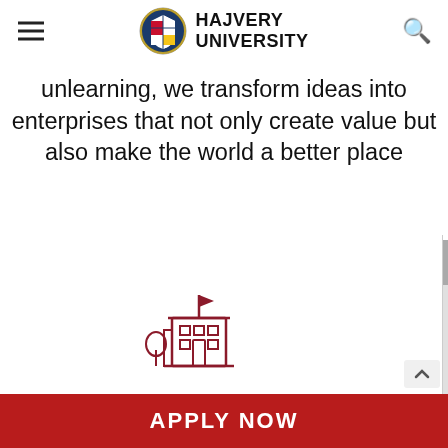HAJVERY UNIVERSITY
unlearning, we transform ideas into enterprises that not only create value but also make the world a better place
[Figure (illustration): Red line icon of a university/school building with a flag on top, windows, and a tree on the left side]
5
APPLY NOW